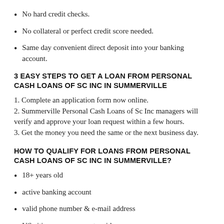No hard credit checks.
No collateral or perfect credit score needed.
Same day convenient direct deposit into your banking account.
3 EASY STEPS TO GET A LOAN FROM PERSONAL CASH LOANS OF SC INC IN SUMMERVILLE
1. Complete an application form now online.
2. Summerville Personal Cash Loans of Sc Inc managers will verify and approve your loan request within a few hours.
3. Get the money you need the same or the next business day.
HOW TO QUALIFY FOR LOANS FROM PERSONAL CASH LOANS OF SC INC IN SUMMERVILLE?
18+ years old
active banking account
valid phone number & e-mail address
US citizen or permanent residence